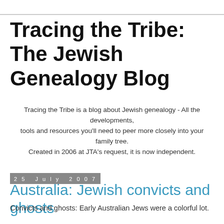Tracing the Tribe: The Jewish Genealogy Blog
Tracing the Tribe is a blog about Jewish genealogy - All the developments, tools and resources you'll need to peer more closely into your family tree. Created in 2006 at JTA's request, it is now independent.
25 July 2007
Australia: Jewish convicts and ghosts
Convicts and ghosts: Early Australian Jews were a colorful lot.
In August 2004, I wrote an "It's All Relative" column on this subject for the Metro weekly of the Jerusalem Post, after meeting then 90-year-old Louise Rosenberg of Sydney at the